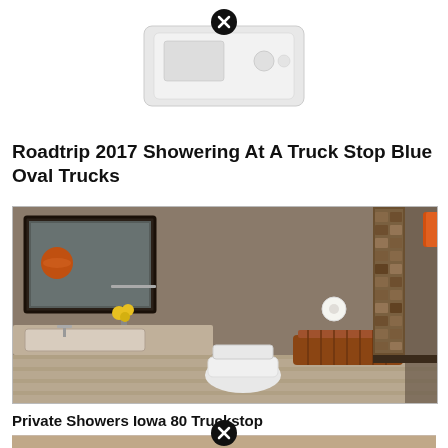[Figure (photo): Partial view of a white appliance or device (likely a router or modem) on white background, with a close/dismiss button overlay]
Roadtrip 2017 Showering At A Truck Stop Blue Oval Trucks
[Figure (photo): Interior of a modern, upscale truck stop bathroom/shower room showing a sink with yellow flowers, toilet, wooden bench, mosaic tile accent wall, and walk-in shower area with wood-look flooring]
Private Showers Iowa 80 Truckstop
[Figure (photo): Partial view of another image at the bottom with a close/dismiss button overlay]